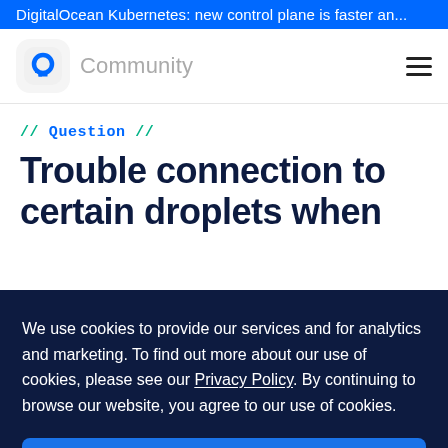DigitalOcean Kubernetes: new control plane is faster an...
[Figure (logo): DigitalOcean Community logo with blue circular icon and 'Community' text in gray]
// Question //
Trouble connection to certain droplets when
We use cookies to provide our services and for analytics and marketing. To find out more about our use of cookies, please see our Privacy Policy. By continuing to browse our website, you agree to our use of cookies.
OK